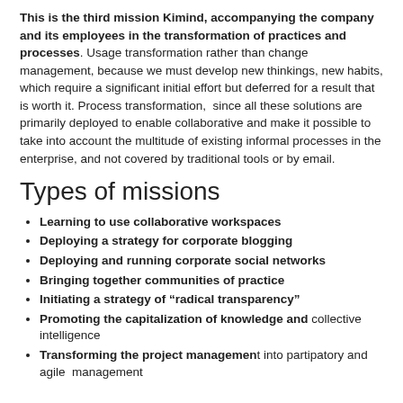This is the third mission Kimind, accompanying the company and its employees in the transformation of practices and processes. Usage transformation rather than change management, because we must develop new thinkings, new habits, which require a significant initial effort but deferred for a result that is worth it. Process transformation, since all these solutions are primarily deployed to enable collaborative and make it possible to take into account the multitude of existing informal processes in the enterprise, and not covered by traditional tools or by email.
Types of missions
Learning to use collaborative workspaces
Deploying a strategy for corporate blogging
Deploying and running corporate social networks
Bringing together communities of practice
Initiating a strategy of “radical transparency”
Promoting the capitalization of knowledge and collective intelligence
Transforming the project management into partipatory and agile management